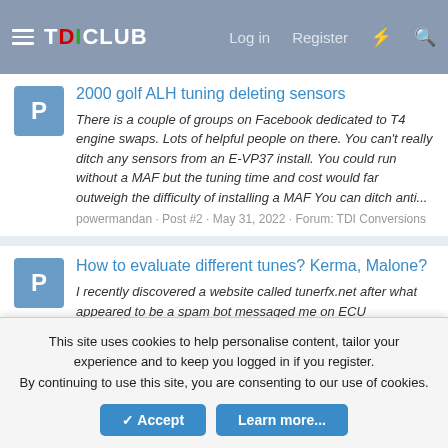TDICLUB — Log in  Register
2000 golf ALH tuning deleting sensors
There is a couple of groups on Facebook dedicated to T4 engine swaps. Lots of helpful people on there. You can't really ditch any sensors from an E-VP37 install. You could run without a MAF but the tuning time and cost would far outweigh the difficulty of installing a MAF You can ditch anti...
powermandan · Post #2 · May 31, 2022 · Forum: TDI Conversions
How to evaluate different tunes? Kerma, Malone?
I recently discovered a website called tunerfx.net after what appeared to be a spam bot messaged me on ECU connections. I was pretty desperate to get a tune and I could find no tuner except darkside who would touch it and they were very expensive and a long way from me. Anyway I was pretty...
powermandan · Post #42 · May 31, 2022 · Forum: TDI Power Enhancements
This site uses cookies to help personalise content, tailor your experience and to keep you logged in if you register.
By continuing to use this site, you are consenting to our use of cookies.